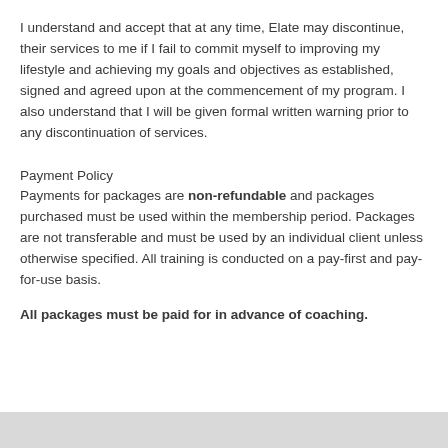I understand and accept that at any time, Elate may discontinue, their services to me if I fail to commit myself to improving my lifestyle and achieving my goals and objectives as established, signed and agreed upon at the commencement of my program. I also understand that I will be given formal written warning prior to any discontinuation of services.
Payment Policy
Payments for packages are non-refundable and packages purchased must be used within the membership period. Packages are not transferable and must be used by an individual client unless otherwise specified. All training is conducted on a pay-first and pay-for-use basis.
All packages must be paid for in advance of coaching.